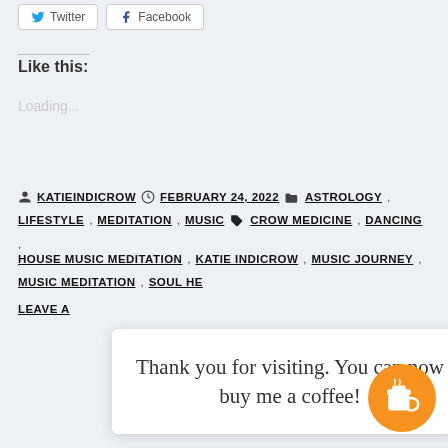[Figure (other): Twitter and Facebook share buttons]
Like this:
Loading...
KATIEINDICROW  FEBRUARY 24, 2022  ASTROLOGY, LIFESTYLE, MEDITATION, MUSIC CROW MEDICINE, DANCING, HOUSE MUSIC MEDITATION, KATIE INDICROW, MUSIC JOURNEY, MUSIC MEDITATION, SOUL HE...
LEAVE A ...
Thank you for visiting. You can now buy me a coffee!
[Figure (other): Buy me a coffee orange circular button with coffee cup icon]